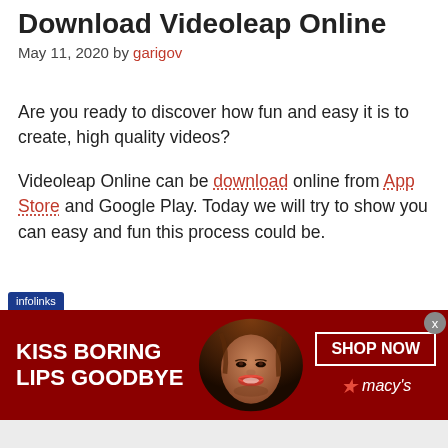Download Videoleap Online
May 11, 2020 by garigov
Are you ready to discover how fun and easy it is to create, high quality videos?
Videoleap Online can be download online from App Store and Google Play. Today we will try to show you can easy and fun this process could be.
[Figure (advertisement): Infolinks advertisement banner for Macy's with text 'KISS BORING LIPS GOODBYE', 'SHOP NOW', and Macy's logo with red star, featuring a woman's face with red lips on a dark red background. Close button (x) in top-right corner.]